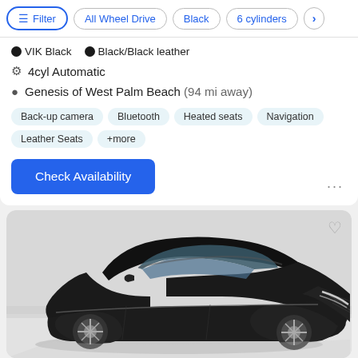Filter | All Wheel Drive | Black | 6 cylinders
VIK Black  Black/Black leather
4cyl Automatic
Genesis of West Palm Beach (94 mi away)
Back-up camera
Bluetooth
Heated seats
Navigation
Leather Seats
+more
Check Availability
[Figure (photo): Black Genesis luxury sedan, front three-quarter view, photographed in a showroom with white floor.]